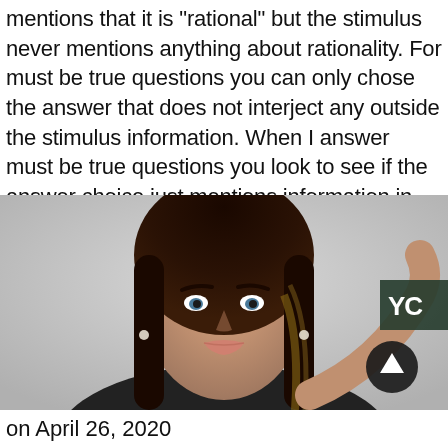mentions that it is "rational" but the stimulus never mentions anything about rationality. For must be true questions you can only chose the answer that does not interject any outside the stimulus information. When I answer must be true questions you look to see if the answer choice just mentions information in the stimulus.
[Figure (photo): Selfie photo of a young woman with long dark hair, wearing a dark top, taken against a light gray background. A dark circular scroll-up button is visible in the lower right of the image.]
on April 26, 2020